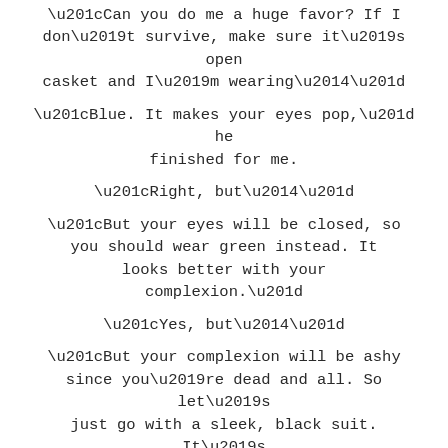“Can you do me a huge favor? If I don’t survive, make sure it’s open casket and I’m wearing—”
“Blue. It makes your eyes pop,” he finished for me.
“Right, but—”
“But your eyes will be closed, so you should wear green instead. It looks better with your complexion.”
“Yes, but—”
“But your complexion will be ashy since you’re dead and all. So let’s just go with a sleek, black suit. It’s timeless.” He arched an incredulous